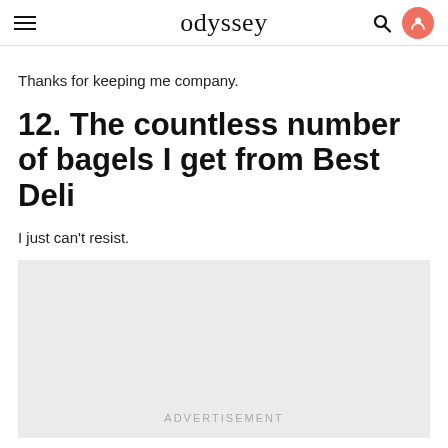odyssey
Thanks for keeping me company.
12. The countless number of bagels I get from Best Deli
I just can't resist.
[Figure (other): Advertisement placeholder box with light gray background and 'ADVERTISEMENT' label]